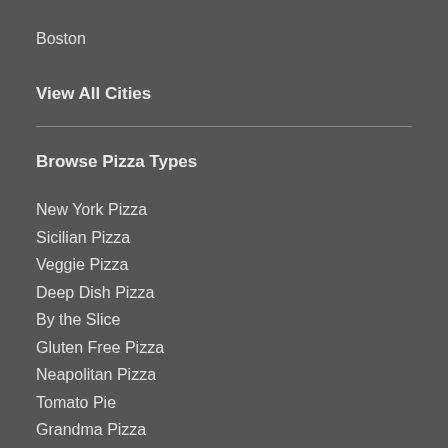Boston
View All Cities
Browse Pizza Types
New York Pizza
Sicilian Pizza
Veggie Pizza
Deep Dish Pizza
By the Slice
Gluten Free Pizza
Neapolitan Pizza
Tomato Pie
Grandma Pizza
Thin Crust Pizza
Stuffed Pizza